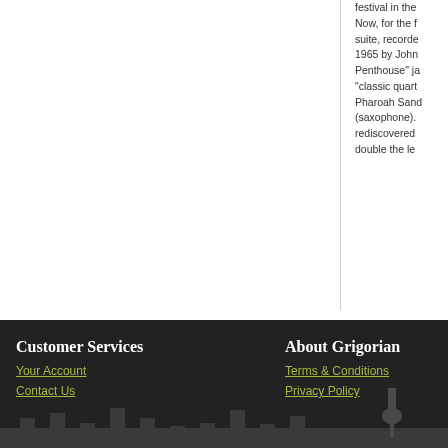festival in the ... Now, for the f... suite, recorde... 1965 by John ... Penthouse" ja... "classic quart... Pharoah Sand... (saxophone).... rediscovered ... double the le...
Customer Services | Your Account | Contact Us | About Grigorian | Terms & Conditions | Privacy Policy